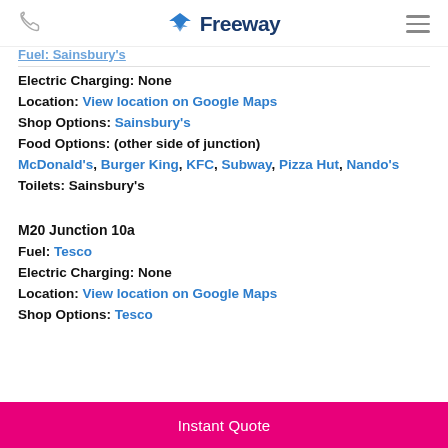Freeway
Electric Charging: None
Location: View location on Google Maps
Shop Options: Sainsbury's
Food Options: (other side of junction)
McDonald's, Burger King, KFC, Subway, Pizza Hut, Nando's
Toilets: Sainsbury's
M20 Junction 10a
Fuel: Tesco
Electric Charging: None
Location: View location on Google Maps
Shop Options: Tesco
Instant Quote